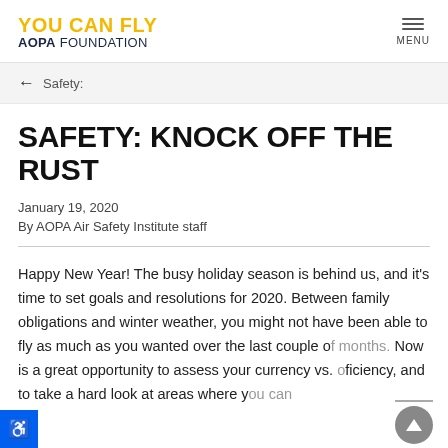YOU CAN FLY AOPA FOUNDATION — MENU
← Safety:
SAFETY: KNOCK OFF THE RUST
January 19, 2020
By AOPA Air Safety Institute staff
Happy New Year! The busy holiday season is behind us, and it's time to set goals and resolutions for 2020. Between family obligations and winter weather, you might not have been able to fly as much as you wanted over the last couple of months. Now is a great opportunity to assess your currency vs. proficiency, and to take a hard look at areas where you can